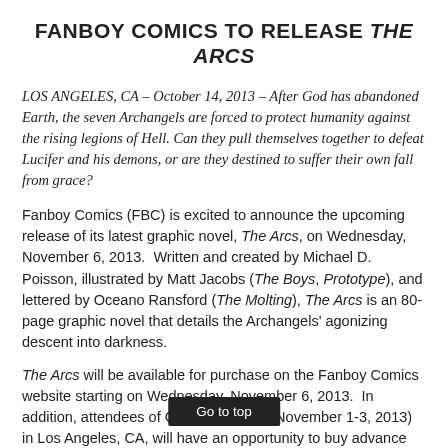FANBOY COMICS TO RELEASE THE ARCS
LOS ANGELES, CA – October 14, 2013 – After God has abandoned Earth, the seven Archangels are forced to protect humanity against the rising legions of Hell. Can they pull themselves together to defeat Lucifer and his demons, or are they destined to suffer their own fall from grace?
Fanboy Comics (FBC) is excited to announce the upcoming release of its latest graphic novel, The Arcs, on Wednesday, November 6, 2013. Written and created by Michael D. Poisson, illustrated by Matt Jacobs (The Boys, Prototype), and lettered by Oceano Ransford (The Molting), The Arcs is an 80-page graphic novel that details the Archangels' agonizing descent into darkness.
The Arcs will be available for purchase on the Fanboy Comics website starting on Wednesday, November 6, 2013. In addition, attendees of Comikaze Expo (November 1-3, 2013) in Los Angeles, CA, will have an opportunity to buy advance copies of the graphic novel at the Fanboy Comics booth (AA13361) in advance of the